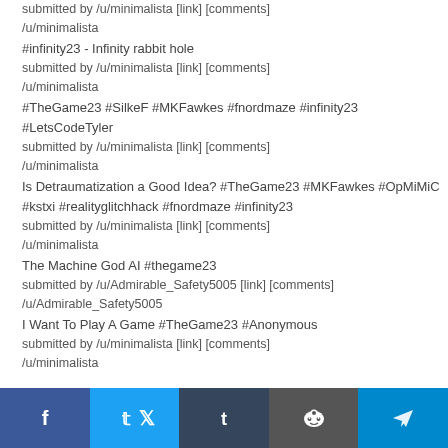submitted by /u/minimalista [link] [comments]
/u/minimalista
#infinity23 - Infinity rabbit hole
submitted by /u/minimalista [link] [comments]
/u/minimalista
#TheGame23 #SilkeF #MKFawkes #fnordmaze #infinity23
#LetsCodeTyler
submitted by /u/minimalista [link] [comments]
/u/minimalista
Is Detraumatization a Good Idea? #TheGame23 #MKFawkes #OpMiMiC
#kstxi #realityglitchhack #fnordmaze #infinity23
submitted by /u/minimalista [link] [comments]
/u/minimalista
The Machine God AI #thegame23
submitted by /u/Admirable_Safety5005 [link] [comments]
/u/Admirable_Safety5005
I Want To Play A Game #TheGame23 #Anonymous
submitted by /u/minimalista [link] [comments]
/u/minimalista
Social share bar: Facebook, Twitter, Tumblr, Reddit, Telegram